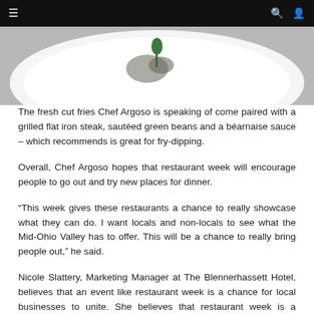≡  🔍 👤
[Figure (photo): Close-up photo of a white plate with food (partially visible), showing what appears to be a dish with a green herb garnish on a dark background]
The fresh cut fries Chef Argoso is speaking of come paired with a grilled flat iron steak, sautéed green beans and a béarnaise sauce – which recommends is great for fry-dipping.
Overall, Chef Argoso hopes that restaurant week will encourage people to go out and try new places for dinner.
“This week gives these restaurants a chance to really showcase what they can do. I want locals and non-locals to see what the Mid-Ohio Valley has to offer. This will be a chance to really bring people out,” he said.
Nicole Slattery, Marketing Manager at The Blennerhassett Hotel, believes that an event like restaurant week is a chance for local businesses to unite. She believes that restaurant week is a chance for everyone to come together, and that it’s a wonderful